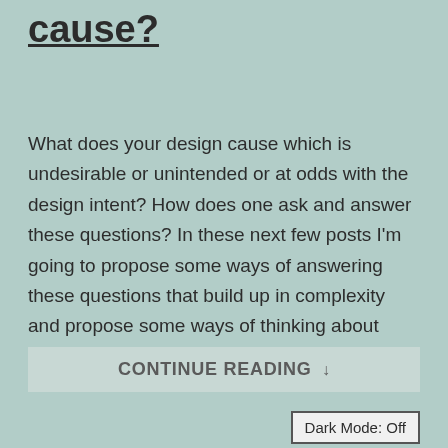cause?
What does your design cause which is undesirable or unintended or at odds with the design intent? How does one ask and answer these questions? In these next few posts I'm going to propose some ways of answering these questions that build up in complexity and propose some ways of thinking about causality and modeling...
CONTINUE READING ↓
Dark Mode: Off